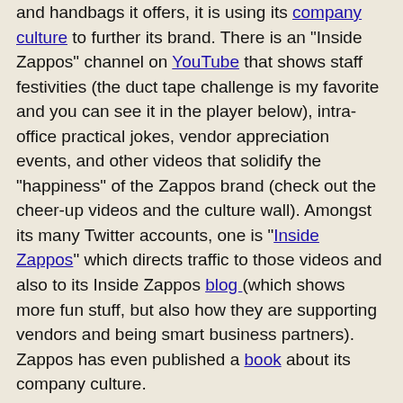and handbags it offers, it is using its company culture to further its brand. There is an "Inside Zappos" channel on YouTube that shows staff festivities (the duct tape challenge is my favorite and you can see it in the player below), intra-office practical jokes, vendor appreciation events, and other videos that solidify the "happiness" of the Zappos brand (check out the cheer-up videos and the culture wall). Amongst its many Twitter accounts, one is "Inside Zappos" which directs traffic to those videos and also to its Inside Zappos blog (which shows more fun stuff, but also how they are supporting vendors and being smart business partners). Zappos has even published a book about its company culture.
All these social media channels have benefits beyond the obvious. From motivating consumers to want to buy from such cool people, to recruiting future talent and attracting potential vendors, Zappos is doing a remarkable job of making its company culture a part of its brand. It's fun, it's irreverent, it's full of life. Who wouldn't want to buy their next pair of shoes from these people?